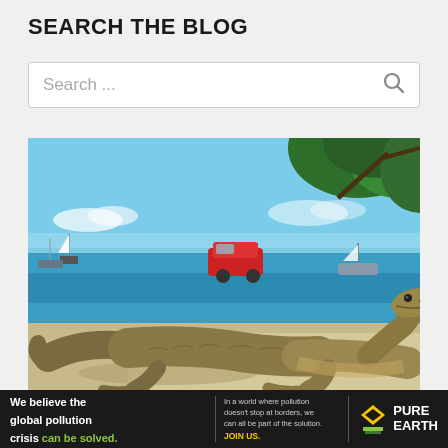SEARCH THE BLOG
Search ...
[Figure (photo): A Komodo dragon walking on a sandy beach with boats and blue ocean in the background and green tree foliage in the upper right corner]
We believe the global pollution crisis can be solved. In a world where pollution doesn't stop at borders, we can all be part of the solution. JOIN US. PURE EARTH